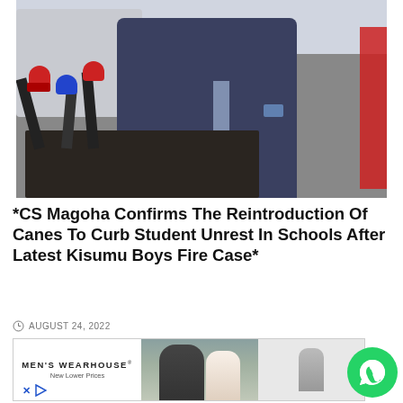[Figure (photo): A person in a dark blue pinstripe suit and face mask standing at a podium with multiple microphones, appearing to speak at a press conference. A white van is visible in the background. Red banner visible on right side.]
*CS Magoha Confirms The Reintroduction Of Canes To Curb Student Unrest In Schools After Latest Kisumu Boys Fire Case*
AUGUST 24, 2022
[Figure (photo): Advertisement for Men's Wearhouse with tagline 'New Lower Prices', showing a couple dressed formally and a single figure in a suit.]